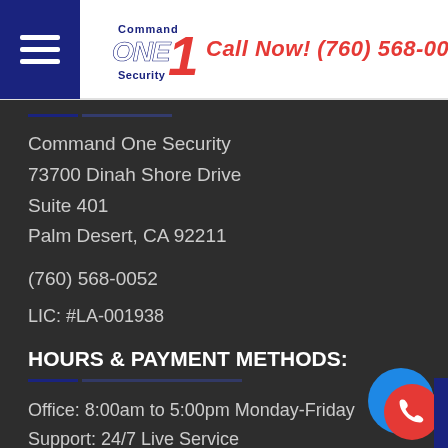Command ONE Security — Call Now! (760) 568-0052
Command One Security
73700 Dinah Shore Drive
Suite 401
Palm Desert, CA 92211
(760) 568-0052
LIC: #LA-001938
HOURS & PAYMENT METHODS:
Office: 8:00am to 5:00pm Monday-Friday
Support: 24/7 Live Service